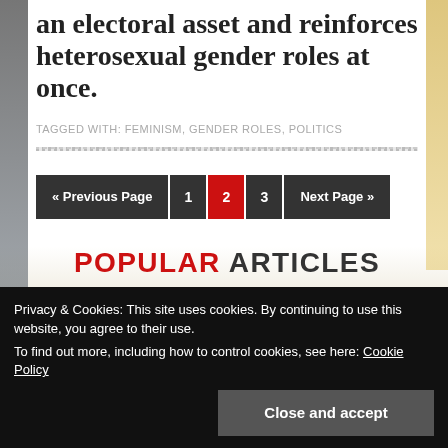an electoral asset and reinforces heterosexual gender roles at once.
TAGGED WITH: FEMINISM, GENDER ROLES, POLITICS
« Previous Page  1  2  3  Next Page »
POPULAR ARTICLES
Privacy & Cookies: This site uses cookies. By continuing to use this website, you agree to their use.
To find out more, including how to control cookies, see here: Cookie Policy
Close and accept
By Former lecturer at AUM